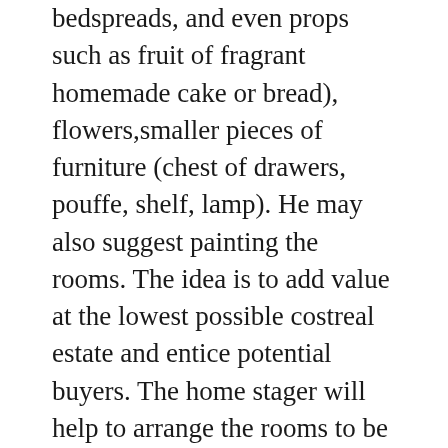bedspreads, and even props such as fruit of fragrant homemade cake or bread), flowers, smaller pieces of furniture (chest of drawers, pouffe, shelf, lamp). He may also suggest painting the rooms. The idea is to add value at the lowest possible costreal estate and entice potential buyers. The home stager will help to arrange the rooms to be more universal, it must prepare them so that the potential client can see the advantages and potential of the apartment and make them imagine them as their own.
Selling a flat is a long and complicated process, so do not hesitate to follow the above advice and you will increase the chance of selling the flat and increase its market value.